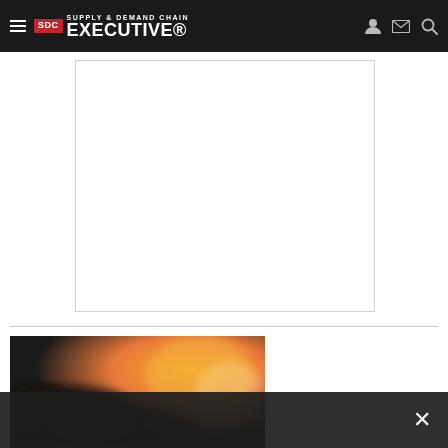Supply & Demand Chain Executive
[Figure (other): White rectangular advertisement placeholder area with light border]
[Figure (photo): Blurred photo showing hands near a laptop with warm orange lighting in the background, appears to be a business/logistics context]
[Figure (other): Dark semi-transparent overlay bar at the bottom with a white X close button on the right]